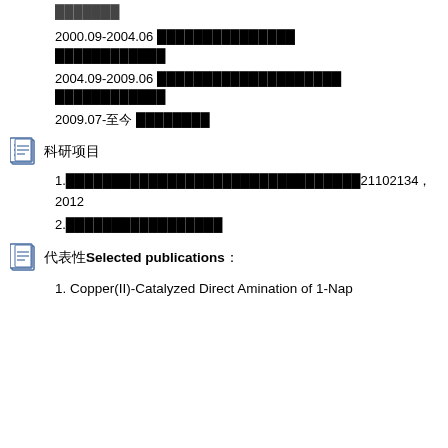教育经历
2000.09-2004.06 █████████████████
█████████████
2004.09-2009.06 ████████████████████
█████████████
2009.07-至今 ████████
科研项目
1.████████████████████████████████21102134，2012
2.█████████████████
代表性Selected publications：
1. Copper(II)-Catalyzed Direct Amination of 1-Nap